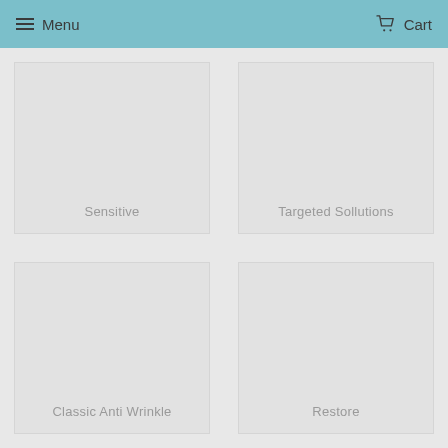Menu   Cart
Sensitive
Targeted Sollutions
Classic Anti Wrinkle
Restore